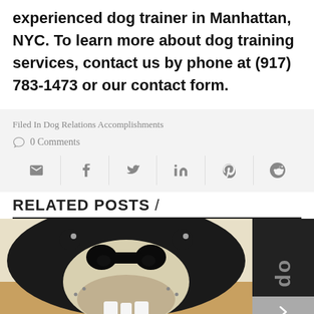experienced dog trainer in Manhattan, NYC. To learn more about dog training services, contact us by phone at (917) 783-1473 or our contact form.
Filed In Dog Relations Accomplishments
0 Comments
[Figure (infographic): Social share buttons: email, Facebook, Twitter, LinkedIn, Pinterest, Reddit]
RELATED POSTS /
[Figure (photo): Close-up photo of a dog's face showing its nose and teeth, smiling, with black and white fur]
[Figure (photo): Dark card with large stylized 'do' text, partial Dog Relations branding visible]